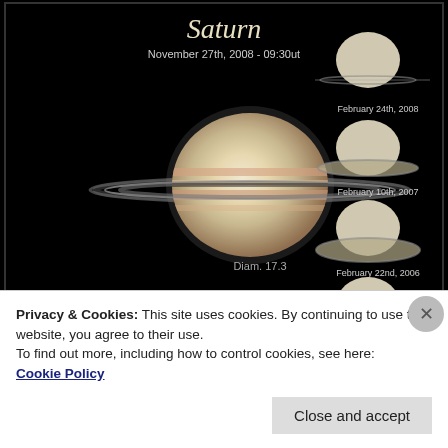[Figure (photo): Astronomical image of Saturn showing the planet with nearly edge-on rings, taken November 27th, 2008 - 09:30ut, with Diam. 17.3 labeled. On the right side, four smaller comparison images of Saturn showing ring tilt progression: February 24th, 2008; February 10th, 2007; February 22nd, 2006; and a partial fourth at the bottom.]
Privacy & Cookies: This site uses cookies. By continuing to use this website, you agree to their use.
To find out more, including how to control cookies, see here:
Cookie Policy
Close and accept